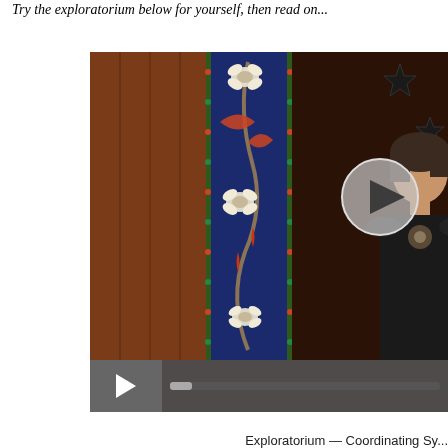Try the exploratorium below for yourself, then read on...
[Figure (screenshot): Video player showing a woman standing in front of a decorative wall hanging with floral and vine patterns in blue, red, and white on a dark wood background. A large circular play button is visible in the center-right of the video. A video control bar is shown at the bottom with a play button and progress bar.]
Exploratorium — Coordinating Sy...